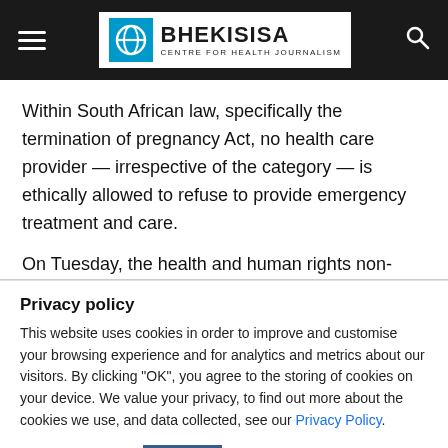BHEKISISA — CENTRE FOR HEALTH JOURNALISM
Within South African law, specifically the termination of pregnancy Act, no health care provider — irrespective of the category — is ethically allowed to refuse to provide emergency treatment and care.
On Tuesday, the health and human rights non-profit the
Privacy policy
This website uses cookies in order to improve and customise your browsing experience and for analytics and metrics about our visitors. By clicking "OK", you agree to the storing of cookies on your device. We value your privacy, to find out more about the cookies we use, and data collected, see our Privacy Policy.
Cookie Settings   OK